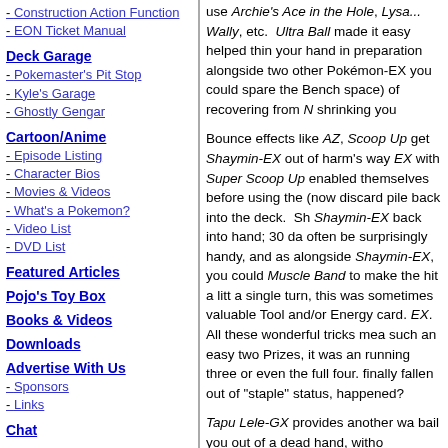Construction Action Function
EON Ticket Manual
Deck Garage
Pokemaster's Pit Stop
Kyle's Garage
Ghostly Gengar
Cartoon/Anime
Episode Listing
Character Bios
Movies & Videos
What's a Pokemon?
Video List
DVD List
Featured Articles
Pojo's Toy Box
Books & Videos
Downloads
Advertise With Us
Sponsors
Links
Chat
About Us
Contact Us
use Archie's Ace in the Hole, Lysa... Wally, etc. Ultra Ball made it easy... helped thin your hand in preparation alongside two other Pokémon-EX... you could spare the Bench space) of recovering from N shrinking you...
Bounce effects like AZ, Scoop Up get Shaymin-EX out of harm's way... EX with Super Scoop Up enabled... themselves before using the (now... discard pile back into the deck. Sh... Shaymin-EX back into hand; 30 da... often be surprisingly handy, and as... alongside Shaymin-EX, you could... Muscle Band to make the hit a little... a single turn, this was sometimes... valuable Tool and/or Energy card. EX. All these wonderful tricks mea... such an easy two Prizes, it was an... running three or even the full four. finally fallen out of "staple" status, happened?
Tapu Lele-GX provides another wa... bail you out of a dead hand, witho... diminishing (or denying the help - Ability. Of course, this does not le... Lele-GX can fetch a draw Support... a draw Supporter. Tapu Lele-GX i...